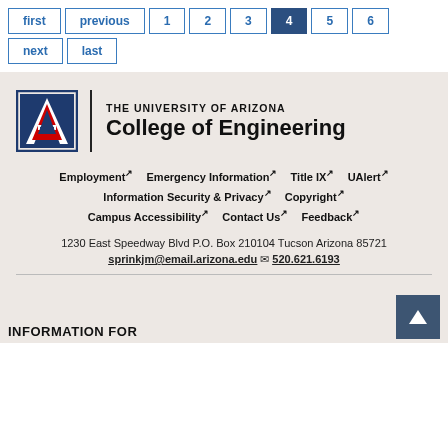Pagination: first, previous, 1, 2, 3, 4 (active), 5, 6, next, last
[Figure (logo): The University of Arizona College of Engineering logo with block A and text]
Employment ↗  Emergency Information ↗  Title IX ↗  UAlert ↗  Information Security & Privacy ↗  Copyright ↗  Campus Accessibility ↗  Contact Us ↗  Feedback ↗
1230 East Speedway Blvd P.O. Box 210104 Tucson Arizona 85721
sprinkjm@email.arizona.edu ✉ 520.621.6193
INFORMATION FOR